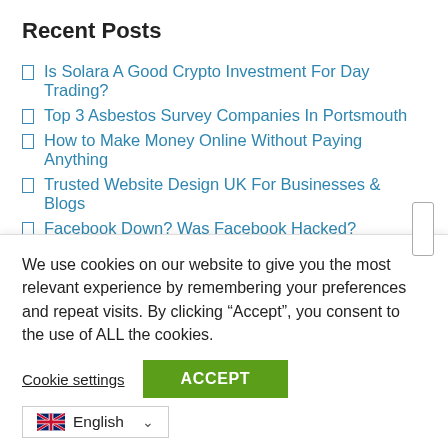Recent Posts
Is Solara A Good Crypto Investment For Day Trading?
Top 3 Asbestos Survey Companies In Portsmouth
How to Make Money Online Without Paying Anything
Trusted Website Design UK For Businesses & Blogs
Facebook Down? Was Facebook Hacked?
Categories
Affiliate Advertising
We use cookies on our website to give you the most relevant experience by remembering your preferences and repeat visits. By clicking “Accept”, you consent to the use of ALL the cookies.
Cookie settings
ACCEPT
English